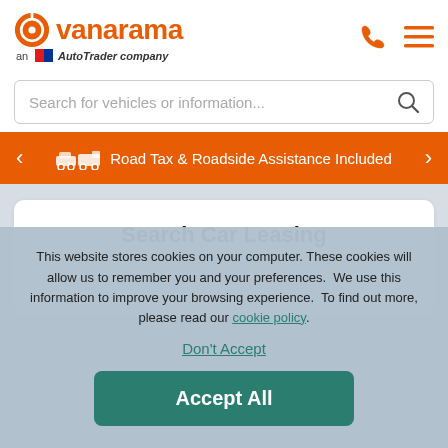[Figure (logo): Vanarama logo with orange circular icon and text, subtitle 'an AutoTrader company' with AutoTrader badge]
[Figure (screenshot): Phone and hamburger menu icons in header top right]
Search for vehicles or information...
Road Tax & Roadside Assistance Included
Search Car Leasing
This website stores cookies on your computer. These cookies will allow us to remember you and your preferences.  We use this information to improve your browsing experience.  To find out more, please read our cookie policy.
Don't Accept
Accept All